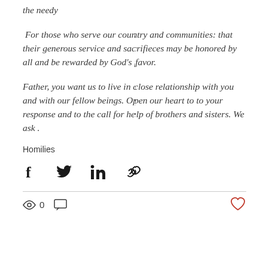the needy
For those who serve our country and communities: that their generous service and sacrifieces may be honored by all and be rewarded by God's favor.
Father, you want us to live in close relationship with you and with our fellow beings. Open our heart to to your response and to the call for help of brothers and sisters. We ask .
Homilies
[Figure (infographic): Social share icons: Facebook, Twitter, LinkedIn, and a link/copy icon]
[Figure (infographic): Stats bar with eye/view icon showing 0 views, a comment icon, and a heart/like icon on the right]